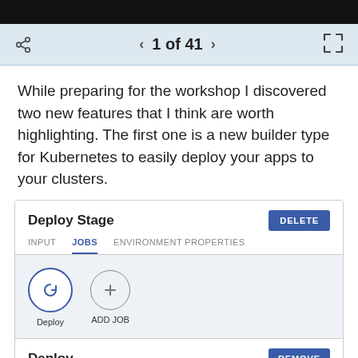1 of 41
While preparing for the workshop I discovered two new features that I think are worth highlighting. The first one is a new builder type for Kubernetes to easily deploy your apps to your clusters.
[Figure (screenshot): Deploy Stage UI panel showing INPUT, JOBS, ENVIRONMENT PROPERTIES tabs with JOBS tab active. Below the tabs is a light gray area showing a Deploy job icon (circular arrow) and an ADD JOB button with a plus icon. Below that is a Deploy section with REMOVE button and Deploy Configuration label.]